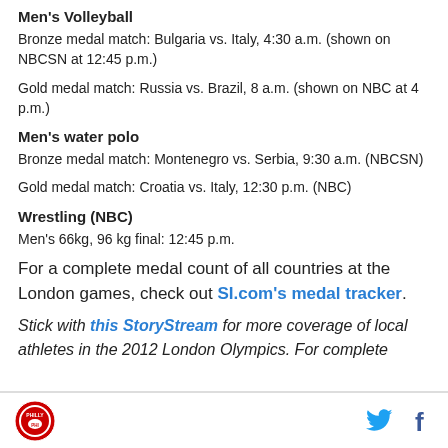Men's Volleyball
Bronze medal match: Bulgaria vs. Italy, 4:30 a.m. (shown on NBCSN at 12:45 p.m.)
Gold medal match: Russia vs. Brazil, 8 a.m. (shown on NBC at 4 p.m.)
Men's water polo
Bronze medal match: Montenegro vs. Serbia, 9:30 a.m. (NBCSN)
Gold medal match: Croatia vs. Italy, 12:30 p.m. (NBC)
Wrestling (NBC)
Men's 66kg, 96 kg final: 12:45 p.m.
For a complete medal count of all countries at the London games, check out SI.com's medal tracker.
Stick with this StoryStream for more coverage of local athletes in the 2012 London Olympics. For complete
Philly logo, Twitter icon, Facebook icon